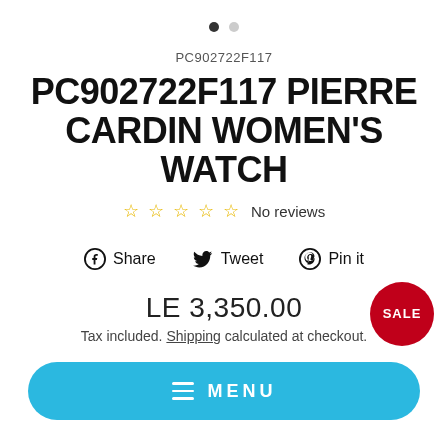PC902722F117
PC902722F117 PIERRE CARDIN WOMEN'S WATCH
☆ ☆ ☆ ☆ ☆ No reviews
Share  Tweet  Pin it
LE 3,350.00
Tax included. Shipping calculated at checkout.
SALE
≡ MENU